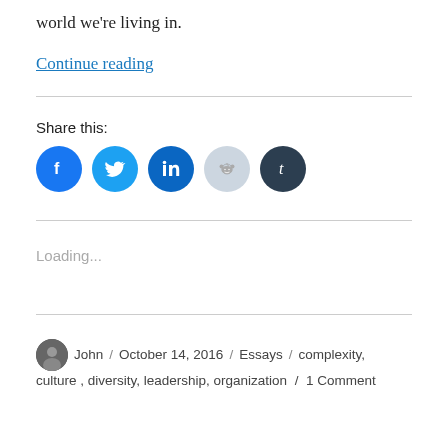world we're living in.
Continue reading
Share this:
[Figure (other): Social share icons: Facebook, Twitter, LinkedIn, Reddit, Tumblr]
Loading...
John / October 14, 2016 / Essays / complexity, culture , diversity, leadership, organization / 1 Comment